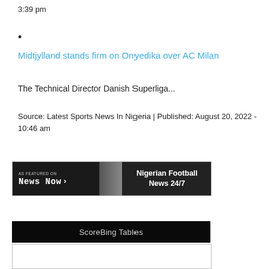3:39 pm
Midtjylland stands firm on Onyedika over AC Milan
The Technical Director Danish Superliga...
Source: Latest Sports News In Nigeria | Published: August 20, 2022 - 10:46 am
[Figure (other): AS FEATURED ON News Now banner with Nigerian Football News 24/7 text]
[Figure (other): ScoreBing Tables banner]